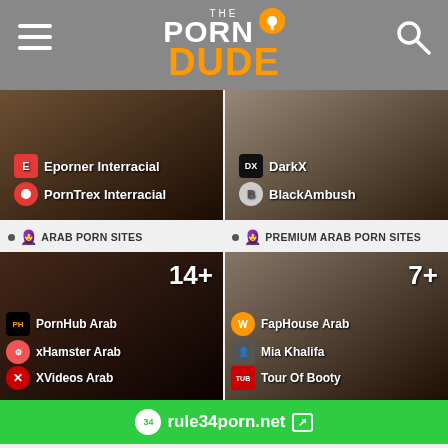THE PORN DUDE
[Figure (screenshot): Two image cards showing interracial porn site thumbnails. Left card shows 'Eporner Interracial' and 'PornTrex Interracial'. Right card shows 'DarkX' and 'BlackAmbush'.]
ARAB PORN SITES
PREMIUM ARAB PORN SITES
[Figure (screenshot): Image card showing Arab porn sites. Count badge: 14+. Sites: PornHub Arab, xHamster Arab, XVideos Arab, Mother Arab (partially visible).]
[Figure (screenshot): Image card showing Premium Arab porn sites. Count badge: 7+. Sites: FapHouse Arab, Mia Khalifa, Tour Of Booty, (partially visible site).]
rule34porn.net
3684+
All Porn Sites
17+
Cartoon Porn Sites